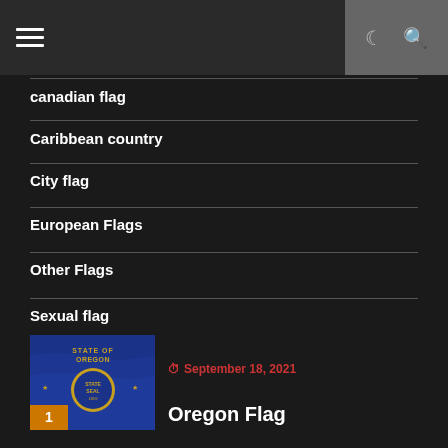≡ (menu icon) | (moon icon) (search icon)
canadian flag
Caribbean country
City flag
European Flags
Other Flags
Sexual flag
[Figure (photo): Oregon state flag thumbnail with badge number 1]
September 18, 2021
Oregon Flag